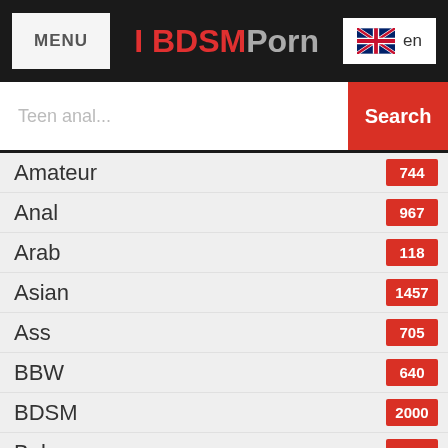MENU | I BDSMPorn | en
Teen anal... Search
Amateur 744
Anal 967
Arab 118
Asian 1457
Ass 705
BBW 640
BDSM 2000
Babes 654
Babysitter 71
Ballbusting 29
Bathroom 55